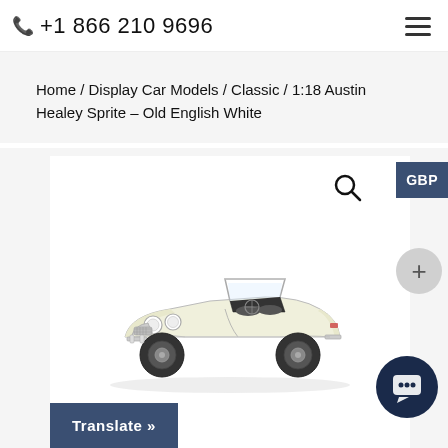📞 +1 866 210 9696
Home / Display Car Models / Classic / 1:18 Austin Healey Sprite – Old English White
[Figure (photo): 1:18 scale model of an Austin Healey Sprite in Old English White color, photographed against a white background. The model shows a classic open-top roadster with round headlights and chrome grille.]
Translate »